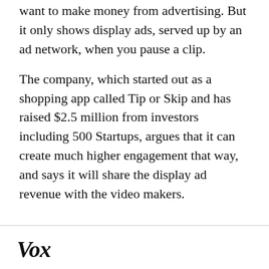want to make money from advertising. But it only shows display ads, served up by an ad network, when you pause a clip.
The company, which started out as a shopping app called Tip or Skip and has raised $2.5 million from investors including 500 Startups, argues that it can create much higher engagement that way, and says it will share the display ad revenue with the video makers.
Vox